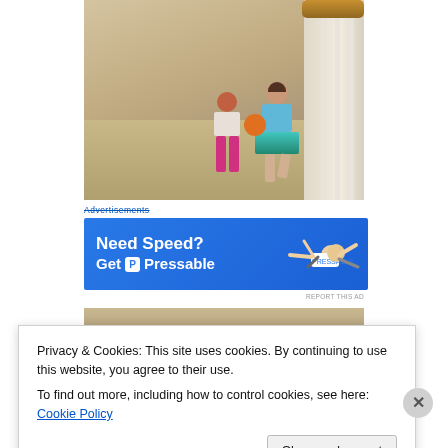[Figure (photo): Two young children playing near a staircase; one child wearing a blue tutu holding an orange ball, another child in pink pants in the background. Indoor carpeted home setting with white balusters and wood handrail.]
Advertisements
[Figure (photo): Advertisement banner for Pressable hosting: 'Need Speed? Get P Pressable' on blue background with illustration of person flying/running.]
REPORT THIS AD
[Figure (photo): Partial photo visible below the advertisement, showing interior room setting.]
Privacy & Cookies: This site uses cookies. By continuing to use this website, you agree to their use.
To find out more, including how to control cookies, see here: Cookie Policy
Close and accept